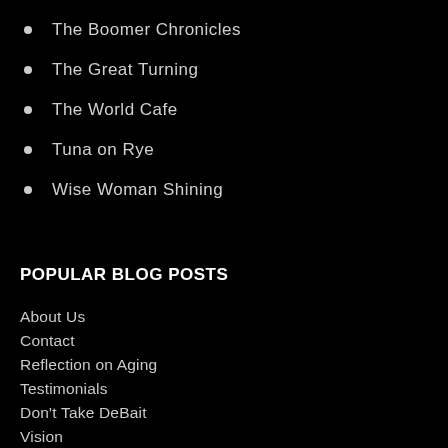The Boomer Chronicles
The Great Turning
The World Cafe
Tuna on Rye
Wise Woman Shining
POPULAR BLOG POSTS
About Us
Contact
Reflection on Aging
Testimonials
Don't Take DeBait
Vision
The Scariest Game in Town
POWER and POLITICS
6 Secrets to Help Seniors Enhance Their Health and...
Send a Story